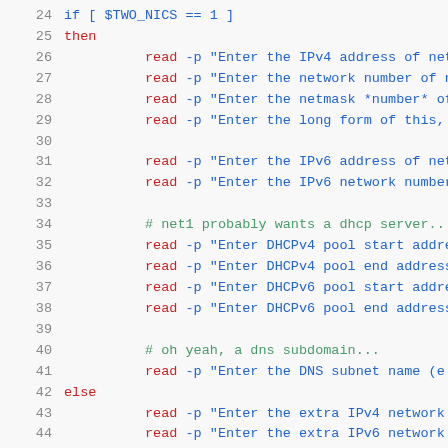[Figure (screenshot): Shell script source code snippet showing lines 24-46, featuring bash if/then/else/fi block with read -p commands for network configuration (IPv4, IPv6, DHCP, DNS), with line numbers in gray, keywords in red, and code in blue on light gray background.]